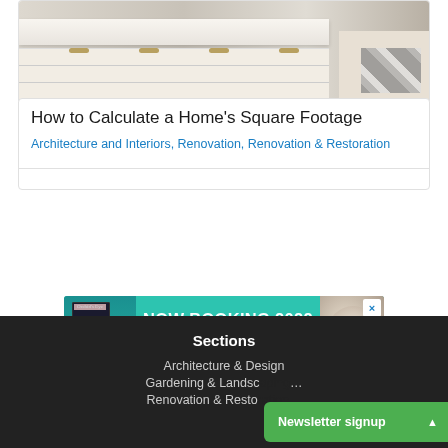[Figure (photo): Kitchen interior with white countertop island with brass drawer handles, checkered rug in background]
How to Calculate a Home's Square Footage
Architecture and Interiors, Renovation, Renovation & Restoration
[Figure (other): Advertisement banner: NOW BOOKING 2022 WEDDINGS — One-of-a-kind flowers and décor. Shows a book on the left and flowers on the right. Close button (×) in top-right corner.]
Sections
Architecture & Design
Gardening & Landsc…
Renovation & Resto…
Newsletter signup ▲